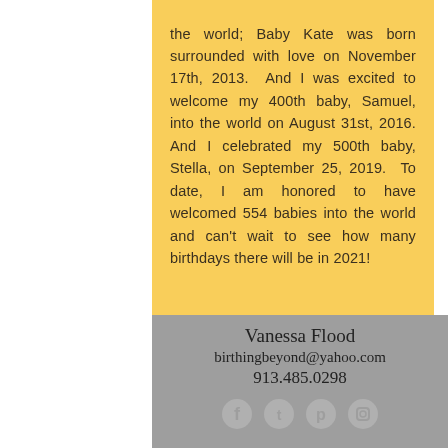the world; Baby Kate was born surrounded with love on November 17th, 2013. And I was excited to welcome my 400th baby, Samuel, into the world on August 31st, 2016. And I celebrated my 500th baby, Stella, on September 25, 2019. To date, I am honored to have welcomed 554 babies into the world and can't wait to see how many birthdays there will be in 2021!
Vanessa Flood
birthing beyond@yahoo.com
913.485.0298
[Figure (other): Social media icons: Facebook, Twitter, Pinterest, Instagram (gray circles)]